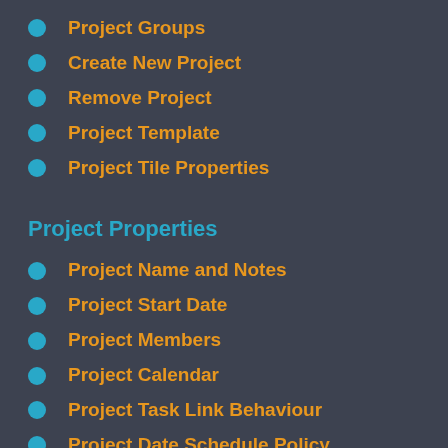Project Groups
Create New Project
Remove Project
Project Template
Project Tile Properties
Project Properties
Project Name and Notes
Project Start Date
Project Members
Project Calendar
Project Task Link Behaviour
Project Date Schedule Policy